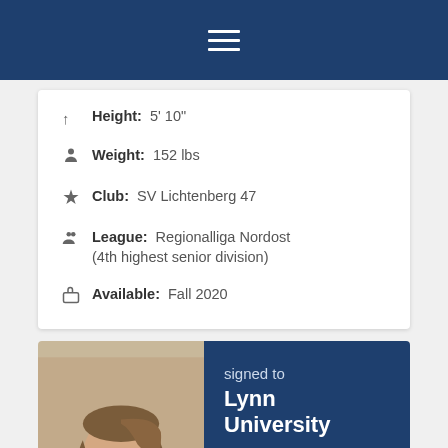Navigation menu header bar
Height: 5' 10"
Weight: 152 lbs
Club: SV Lichtenberg 47
League: Regionalliga Nordost (4th highest senior division)
Available: Fall 2020
[Figure (photo): Smiling young woman with hair pulled back, wearing white collar, against beige background; beside a dark blue panel reading 'signed to Lynn University' with partial university logo at bottom]